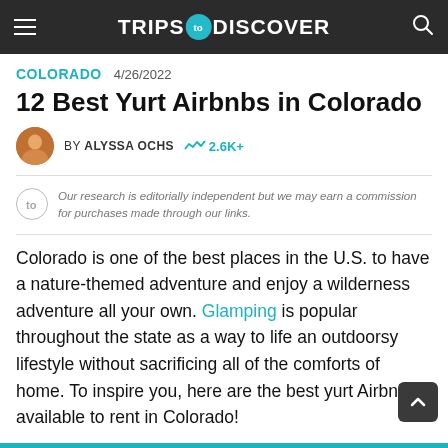TRIPS TO DISCOVER
COLORADO   4/26/2022
12 Best Yurt Airbnbs in Colorado
BY ALYSSA OCHS   2.6K+
Our research is editorially independent but we may earn a commission for purchases made through our links.
Colorado is one of the best places in the U.S. to have a nature-themed adventure and enjoy a wilderness adventure all your own. Glamping is popular throughout the state as a way to life an outdoorsy lifestyle without sacrificing all of the comforts of home. To inspire you, here are the best yurt Airbnbs available to rent in Colorado!